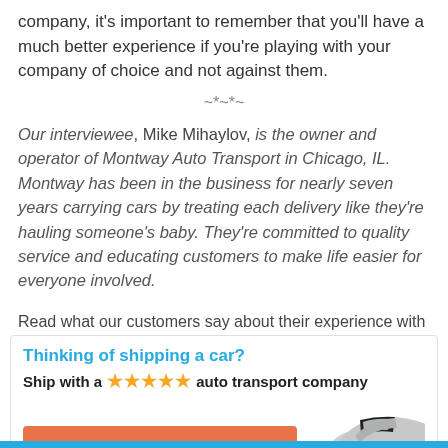company, it's important to remember that you'll have a much better experience if you're playing with your company of choice and not against them.
~*~*~
Our interviewee, Mike Mihaylov, is the owner and operator of Montway Auto Transport in Chicago, IL. Montway has been in the business for nearly seven years carrying cars by treating each delivery like they're hauling someone's baby. They're committed to quality service and educating customers to make life easier for everyone involved.
Read what our customers say about their experience with
[Figure (infographic): Advertisement box for Montway Auto Transport with cyan title 'Thinking of shipping a car?', bold subtitle 'Ship with a ★★★★★ auto transport company', an orange button 'Get an instant quote', and a partial car image on the right.]